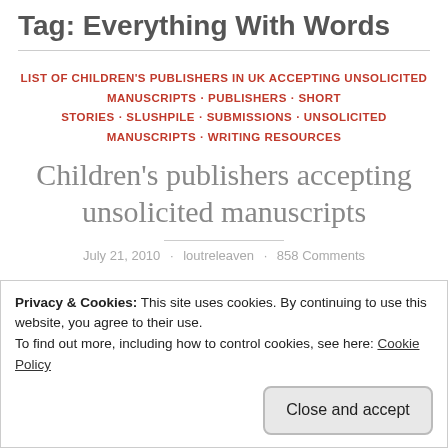Tag: Everything With Words
LIST OF CHILDREN'S PUBLISHERS IN UK ACCEPTING UNSOLICITED MANUSCRIPTS · PUBLISHERS · SHORT STORIES · SLUSHPILE · SUBMISSIONS · UNSOLICITED MANUSCRIPTS · WRITING RESOURCES
Children's publishers accepting unsolicited manuscripts
July 21, 2010 · loutreleaven · 858 Comments
Privacy & Cookies: This site uses cookies. By continuing to use this website, you agree to their use.
To find out more, including how to control cookies, see here: Cookie Policy
goes. Thankfully, there are still a few children's book